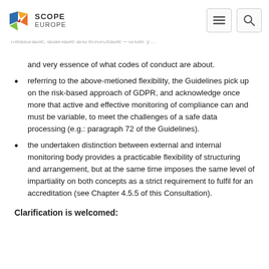SCOPE EUROPE
and very essence of what codes of conduct are about.
referring to the above-metioned flexibility, the Guidelines pick up on the risk-based approach of GDPR, and acknowledge once more that active and effective monitoring of compliance can and must be variable, to meet the challenges of a safe data processing (e.g.: paragraph 72 of the Guidelines).
the undertaken distinction between external and internal monitoring body provides a practicable flexibility of structuring and arrangement, but at the same time imposes the same level of impartiality on both concepts as a strict requirement to fulfil for an accreditation (see Chapter 4.5.5 of this Consultation).
Clarification is welcomed: